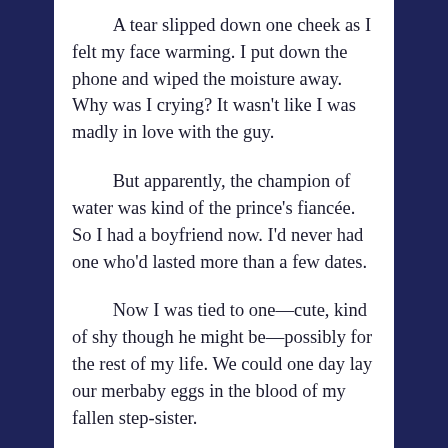A tear slipped down one cheek as I felt my face warming. I put down the phone and wiped the moisture away. Why was I crying? It wasn't like I was madly in love with the guy.

But apparently, the champion of water was kind of the prince's fiancée. So I had a boyfriend now. I'd never had one who'd lasted more than a few dates.

Now I was tied to one—cute, kind of shy though he might be—possibly for the rest of my life. We could one day lay our merbaby eggs in the blood of my fallen step-sister.

No and no. I still wasn't planning on either happening.

My phone buzzed again and I swiped away another notification from Paisley. The